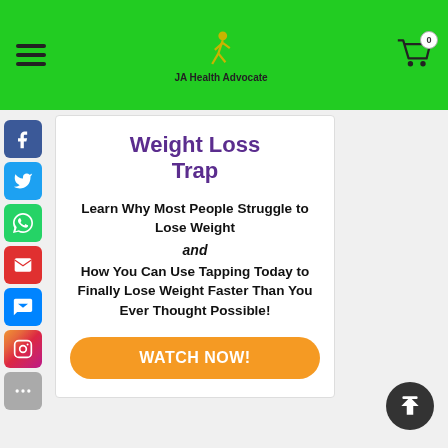JA Health Advocate
Weight Loss Trap
Learn Why Most People Struggle to Lose Weight and How You Can Use Tapping Today to Finally Lose Weight Faster Than You Ever Thought Possible!
WATCH NOW!